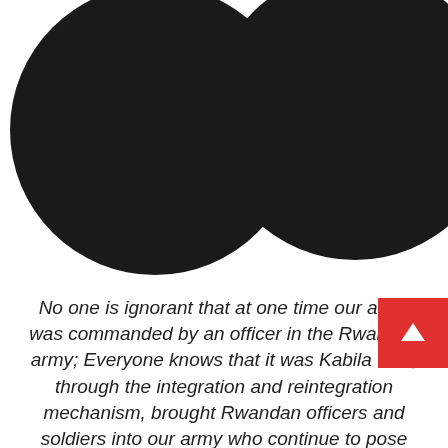[Figure (photo): Two large black circular shapes (partially cropped heads/silhouettes) side by side at the top of the page against a white background]
No one is ignorant that at one time our army was commanded by an officer in the Rwandan army; Everyone knows that it was Kabila who, through the integration and reintegration mechanism, brought Rwandan officers and soldiers into our army who continue to pose problems for our country. Felix Tshisekedi has not yet appointed a single officer, he is working with what he has found [...] We are in no way responsible for what happens. The FCC must remain silent and apologize to